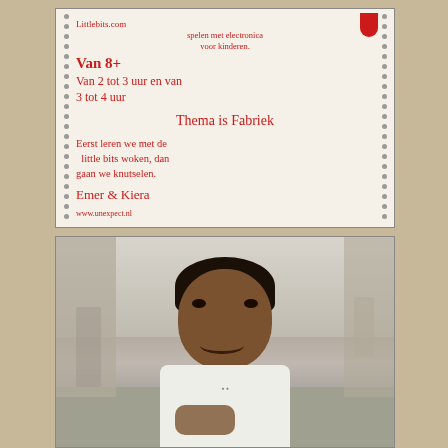[Figure (photo): Photo of a handwritten sign/whiteboard with dotted border. Red handwritten Dutch text reads: 'Littlebits.com spelen met electronica voor kinderen. Van 8+ Van 2 tot 3 uur en van 3 tot 4 uur. Thema is Fabriek. Eerst leren we met de littlebits woken. dan gaan we knutselen. Emer & Kiera. www.unexpect.nl'. There is a red tag at the top right corner.]
[Figure (photo): Photo of a young smiling child with curly dark hair wearing a white t-shirt, taken indoors in what appears to be a large warehouse or factory space (Fabriek). Other people and industrial background visible.]